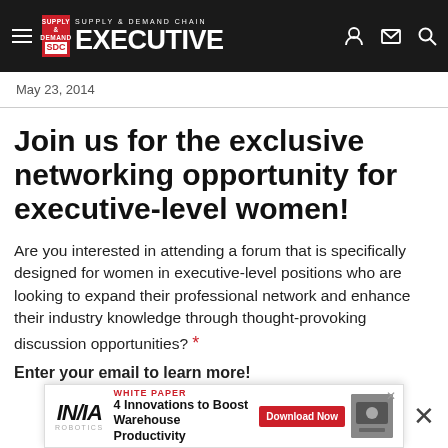Supply & Demand Chain Executive
May 23, 2014
Join us for the exclusive networking opportunity for executive-level women!
Are you interested in attending a forum that is specifically designed for women in executive-level positions who are looking to expand their professional network and enhance their industry knowledge through thought-provoking discussion opportunities? *
Enter your email to learn more!
[Figure (other): Advertisement banner: INVIA Robotics White Paper — 4 Innovations to Boost Warehouse Productivity, with Download Now button]